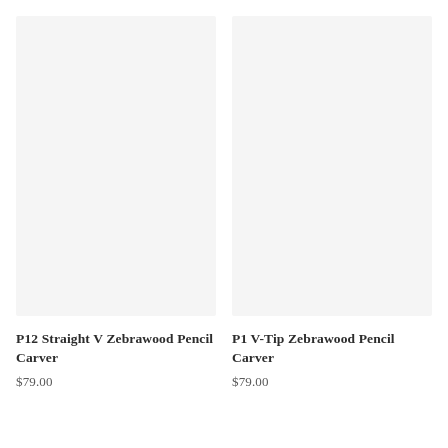[Figure (photo): Product image placeholder for P12 Straight V Zebrawood Pencil Carver — light gray rectangular image area]
P12 Straight V Zebrawood Pencil Carver
$79.00
[Figure (photo): Product image placeholder for P1 V-Tip Zebrawood Pencil Carver — light gray rectangular image area]
P1 V-Tip Zebrawood Pencil Carver
$79.00